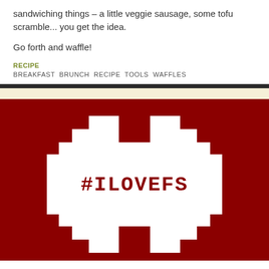sandwiching things – a little veggie sausage, some tofu scramble... you get the idea.
Go forth and waffle!
RECIPE
BREAKFAST  BRUNCH  RECIPE  TOOLS  WAFFLES
[Figure (illustration): Dark red background with a large white pixelated/stepped cross or badge shape in the center containing the text #ILOVEFS in dark red monospace bold font]